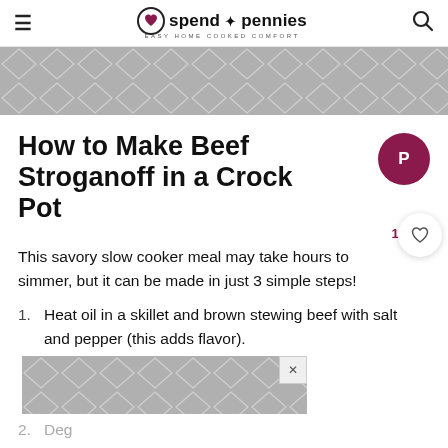spend with pennies — EASY HOME COOKED COMFORT
[Figure (other): Advertisement banner with geometric diamond/cube pattern in grey]
How to Make Beef Stroganoff in a Crock Pot
1,094
This savory slow cooker meal may take hours to simmer, but it can be made in just 3 simple steps!
Heat oil in a skillet and brown stewing beef with salt and pepper (this adds flavor).
[Figure (other): Advertisement banner with geometric diamond/cube pattern in grey]
Deg...